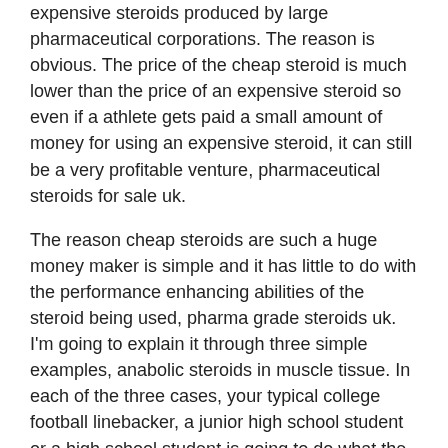expensive steroids produced by large pharmaceutical corporations. The reason is obvious. The price of the cheap steroid is much lower than the price of an expensive steroid so even if a athlete gets paid a small amount of money for using an expensive steroid, it can still be a very profitable venture, pharmaceutical steroids for sale uk.
The reason cheap steroids are such a huge money maker is simple and it has little to do with the performance enhancing abilities of the steroid being used, pharma grade steroids uk. I'm going to explain it through three simple examples, anabolic steroids in muscle tissue. In each of the three cases, your typical college football linebacker, a junior high school student or a high school student is going to do what the average person would do. He's going to go to class, he's going to go to his classes and he's going to go to his school.